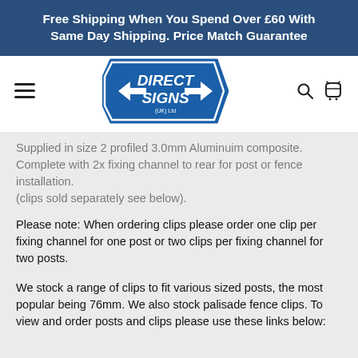Free Shipping When You Spend Over £60 With Same Day Shipping. Price Match Guarantee
[Figure (logo): Direct Signs (UK) Ltd logo — blue shield shape with white bold text DIRECT SIGNS and arrows]
Supplied in size 2 profiled 3.0mm Aluminuim composite. Complete with 2x fixing channel to rear for post or fence installation.
(clips sold separately see below).
Please note: When ordering clips please order one clip per fixing channel for one post or two clips per fixing channel for two posts.
We stock a range of clips to fit various sized posts, the most popular being 76mm. We also stock palisade fence clips. To view and order posts and clips please use these links below: